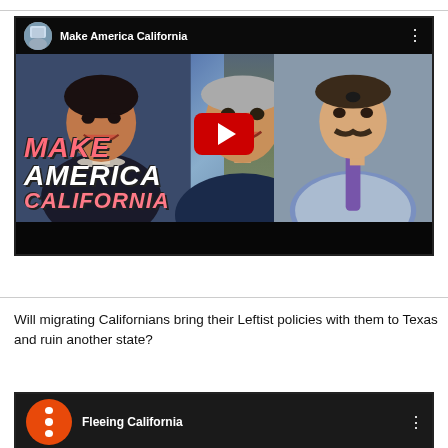[Figure (screenshot): YouTube video thumbnail titled 'Make America California' featuring political figures and text overlay with play button]
Will migrating Californians bring their Leftist policies with them to Texas and ruin another state?
[Figure (screenshot): Partial YouTube video thumbnail showing 'Fleeing California' with orange channel icon]